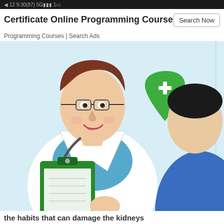Certificate Online Programming Course
Programming Courses | Search Ads
[Figure (illustration): Cartoon-style illustration of a smiling doctor in a white coat with a stethoscope and a green clipboard, speaking with a patient whose back is to the viewer. A large green heart with a white cross medical symbol is visible in the background.]
the habits that can damage the kidneys